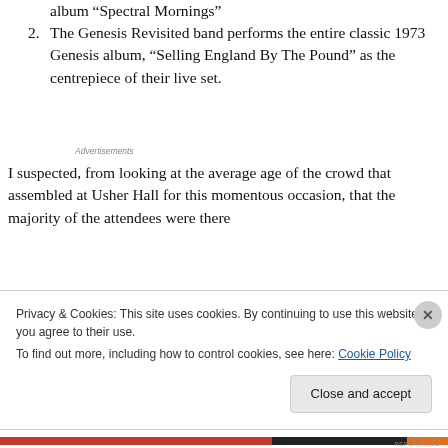album “Spectral Mornings”
2. The Genesis Revisited band performs the entire classic 1973 Genesis album, “Selling England By The Pound” as the centrepiece of their live set.
Advertisements
I suspected, from looking at the average age of the crowd that assembled at Usher Hall for this momentous occasion, that the majority of the attendees were there
Privacy & Cookies: This site uses cookies. By continuing to use this website, you agree to their use.
To find out more, including how to control cookies, see here: Cookie Policy